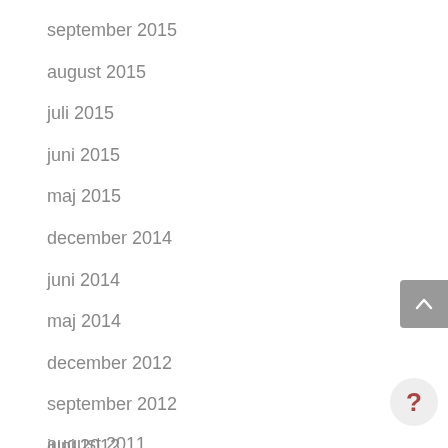september 2015
august 2015
juli 2015
juni 2015
maj 2015
december 2014
juni 2014
maj 2014
december 2012
september 2012
juni 2012
august 2011